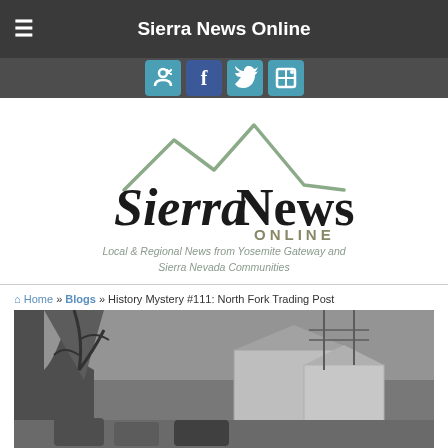Sierra News Online
[Figure (logo): Sierra News Online logo with mountain graphic and tagline: Local & Regional News from Yosemite Gateway and Sierra Nevada Communities]
Local & Regional News from Yosemite Gateway and Sierra Nevada Communities
Home » Blogs » History Mystery #111: North Fork Trading Post
[Figure (photo): Black and white historical photograph of North Fork Trading Post street scene with old cars and buildings in winter]